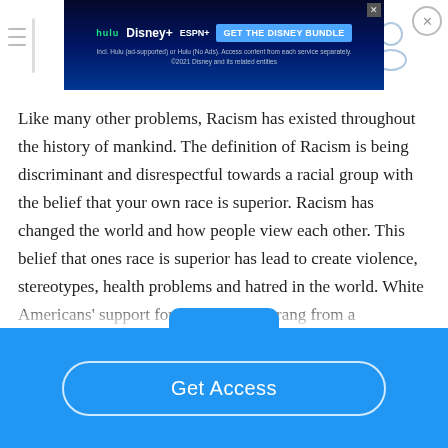[Figure (screenshot): Disney Bundle advertisement banner showing Hulu, Disney+, ESPN+ logos with 'GET THE DISNEY BUNDLE' call to action on dark blue background]
Like many other problems, Racism has existed throughout the history of mankind. The definition of Racism is being discriminant and disrespectful towards a racial group with the belief that your own race is superior. Racism has changed the world and how people view each other. This belief that ones race is superior has lead to create violence, stereotypes, health problems and hatred in the world. White Americans' support for segregation sprang from a widespread belief in black inferiority and that blacks' disadvantaged status tended to reinforce this sentiment (Harris and Leiberman).…
Get Access